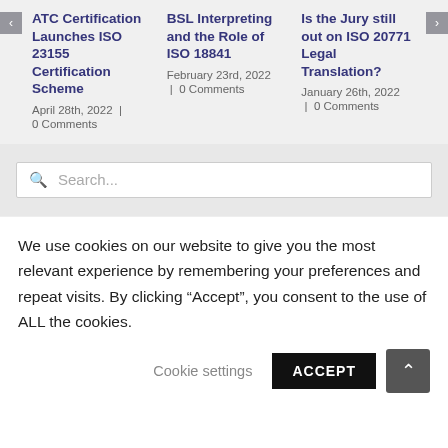ATC Certification Launches ISO 23155 Certification Scheme
April 28th, 2022 | 0 Comments
BSL Interpreting and the Role of ISO 18841
February 23rd, 2022 | 0 Comments
Is the Jury still out on ISO 20771 Legal Translation?
January 26th, 2022 | 0 Comments
Search...
We use cookies on our website to give you the most relevant experience by remembering your preferences and repeat visits. By clicking “Accept”, you consent to the use of ALL the cookies.
Cookie settings
ACCEPT